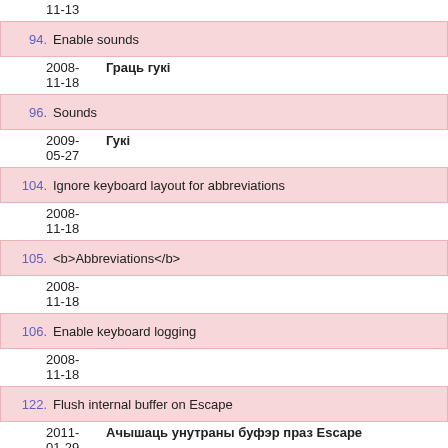11-13
94. Enable sounds
2008-11-18  Граць гукі
96. Sounds
2009-05-27  Гукі
104. Ignore keyboard layout for abbreviations
2008-11-18
105. <b>Abbreviations</b>
2008-11-18
106. Enable keyboard logging
2008-11-18
122. Flush internal buffer on Escape
2011-01-29  Ачышаць унутраны буфэр праз Escape
123. Flush internal buffer on Enter or Tab